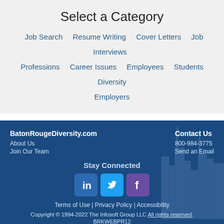Select a Category
Job Search
Resume Writing
Cover Letters
Job Interviews
Professions
Career Issues
Employees
Students
Diversity
Employers
BatonRougeDiversity.com
About Us
Join Our Team
Contact Us
800-984-3775
Send an Email
Stay Connected
[Figure (logo): LinkedIn, Twitter, Facebook social media icons]
Terms of Use | Privacy Policy | Accessibility
Copyright © 1994-2022 The Infosoft Group LLC All rights reserved. BRKWEBPR12